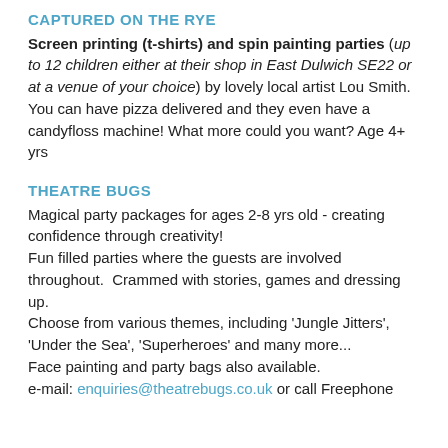CAPTURED ON THE RYE
Screen printing (t-shirts) and spin painting parties (up to 12 children either at their shop in East Dulwich SE22 or at a venue of your choice) by lovely local artist Lou Smith. You can have pizza delivered and they even have a candyfloss machine! What more could you want? Age 4+ yrs
THEATRE BUGS
Magical party packages for ages 2-8 yrs old - creating confidence through creativity!
Fun filled parties where the guests are involved throughout.  Crammed with stories, games and dressing up.
Choose from various themes, including 'Jungle Jitters', 'Under the Sea', 'Superheroes' and many more...
Face painting and party bags also available.
e-mail: enquiries@theatrebugs.co.uk or call Freephone